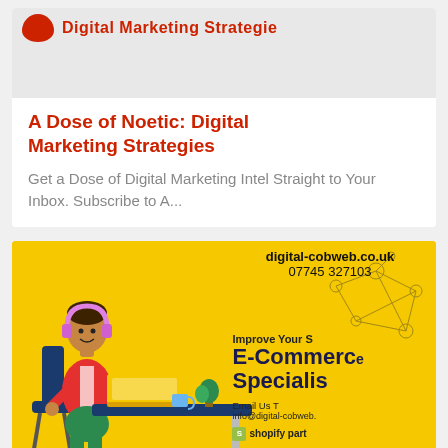Digital Marketing Strategies
A Dose of Noetic: Digital Marketing Strategies
Get a Dose of Digital Marketing Intel Straight to Your Inbox. Subscribe to A...
[Figure (illustration): Yellow banner advertisement for digital-cobweb.co.uk, showing a cartoon person sitting at a desk with a laptop, wearing headphones. Text reads: digital-cobweb.co.uk, 07745 327103, Improve Your S, E-Commerce, Specialis, Email Us T, info@digital-cobweb, shopify part]
All Things Digital Marketing – Digital Cobweb